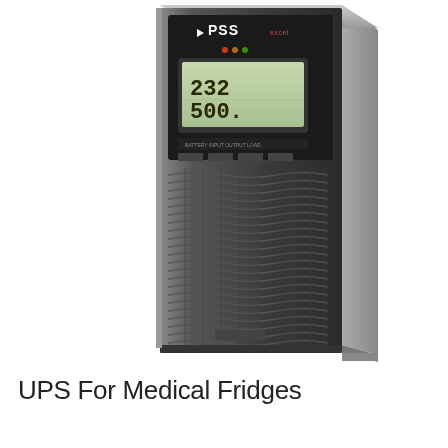[Figure (photo): A tall tower-style UPS (Uninterruptible Power Supply) unit branded PSS, shown in dark grey/black finish. The unit has a front panel with an LCD display showing '232' and '500.' values, indicator lights, and control buttons near the top. The lower portion of the front panel features wavy horizontal ventilation slats. The unit is photographed at a slight angle against a white background.]
UPS For Medical Fridges